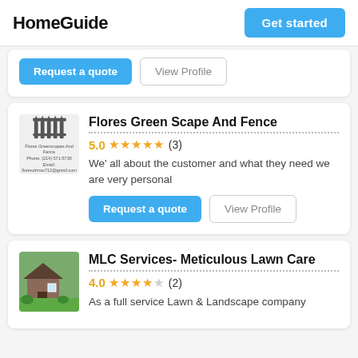HomeGuide | Get started
Request a quote  View Profile
Flores Green Scape And Fence
5.0 ★★★★★ (3)
We' all about the customer and what they need we are very personal
Request a quote  View Profile
MLC Services- Meticulous Lawn Care
4.0 ★★★★☆ (2)
As a full service Lawn & Landscape company